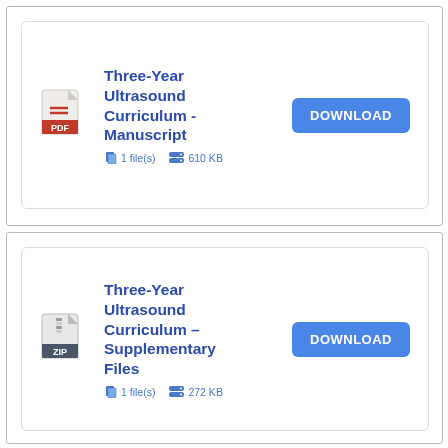[Figure (screenshot): Download card for 'Three-Year Ultrasound Curriculum - Manuscript' PDF file, 1 file(s), 610 KB, with a blue DOWNLOAD button]
[Figure (screenshot): Download card for 'Three-Year Ultrasound Curriculum – Supplementary Files' ZIP file, 1 file(s), 272 KB, with a blue DOWNLOAD button]